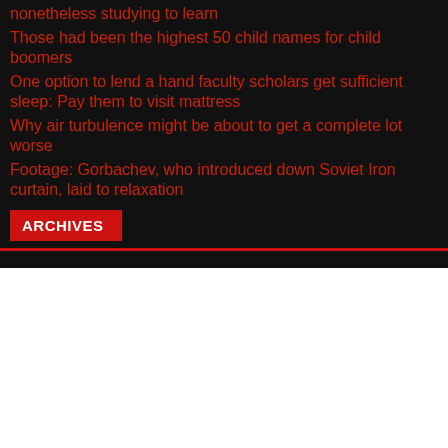nonetheless studying to learn
Those had been the highest 50 child names for child boomers
One option to lend a hand faculty scholars get sufficient sleep: Pay them to visit mattress
Why air turbulence might be about to get a complete lot worse
Footage: Gorbachev, who introduced down Soviet Iron curtain, laid to relaxation
ARCHIVES
We use cookies on our website to give you the most relevant experience by remembering your preferences and repeat visits. By clicking “Accept All”, you consent to the use of ALL the cookies. However, you may visit "Cookie Settings" to provide a controlled consent.